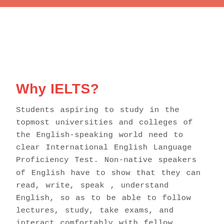Why IELTS?
Students aspiring to study in the topmost universities and colleges of the English-speaking world need to clear International English Language Proficiency Test. Non-native speakers of English have to show that they can read, write, speak , understand English, so as to be able to follow lectures, study, take exams, and interact comfortably with fellow students, teachers and the local population. For this purpose as well as for the purpose of immigration, a standardized